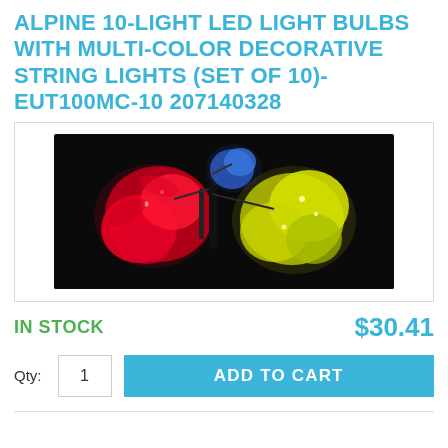ALPINE 10-LIGHT LED LIGHT BULBS WITH MULTI-COLOR DECORATIVE STRING LIGHTS (SET OF 10)-EUT100MC-10 207140328
[Figure (photo): Product photo of multi-color LED light bulbs on a dark background, showing red, yellow/green, and blue decorative string light bulbs glowing brightly.]
IN STOCK
$30.41
Qty: 1  ADD TO CART